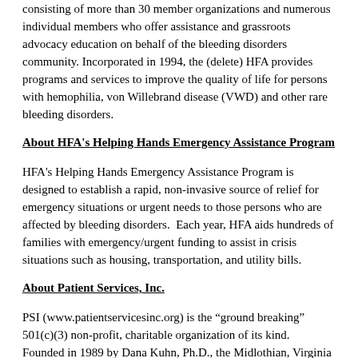consisting of more than 30 member organizations and numerous individual members who offer assistance and grassroots advocacy education on behalf of the bleeding disorders community. Incorporated in 1994, the (delete) HFA provides programs and services to improve the quality of life for persons with hemophilia, von Willebrand disease (VWD) and other rare bleeding disorders.
About HFA's Helping Hands Emergency Assistance Program
HFA's Helping Hands Emergency Assistance Program is designed to establish a rapid, non-invasive source of relief for emergency situations or urgent needs to those persons who are affected by bleeding disorders.  Each year, HFA aids hundreds of families with emergency/urgent funding to assist in crisis situations such as housing, transportation, and utility bills.
About Patient Services, Inc.
PSI (www.patientservicesinc.org) is the “ground breaking” 501(c)(3) non-profit, charitable organization of its kind.  Founded in 1989 by Dana Kuhn, Ph.D., the Midlothian, Virginia based company has helped people who live with specific chronic illnesses or conditions locate suitable health insurance coverage and access ways to satisfy